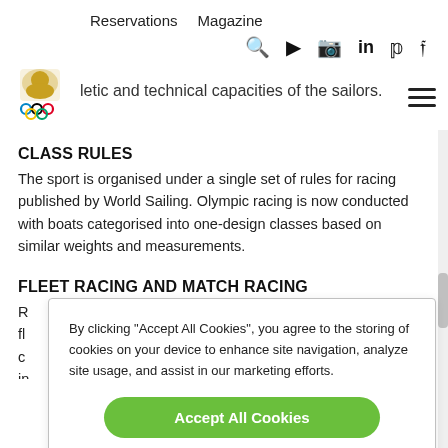Reservations  Magazine
letic and technical capacities of the sailors.
CLASS RULES
The sport is organised under a single set of rules for racing published by World Sailing. Olympic racing is now conducted with boats categorised into one-design classes based on similar weights and measurements.
FLEET RACING AND MATCH RACING
R... fl... c... in... c... T...
By clicking "Accept All Cookies", you agree to the storing of cookies on your device to enhance site navigation, analyze site usage, and assist in our marketing efforts.

Accept All Cookies